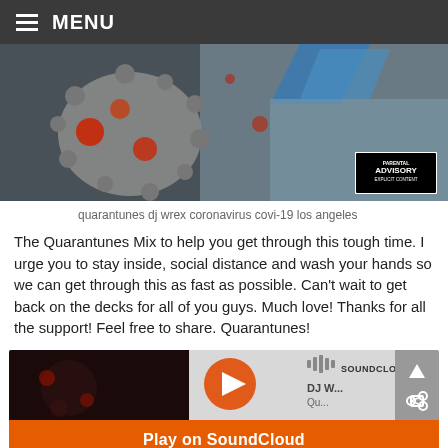≡ MENU
[Figure (photo): Hero image of coronavirus particles (3D rendering) with blue geometric shapes in background and a Parental Advisory Explicit Content label in the bottom right corner]
quarantunes dj wrex coronavirus covi-19 los angeles
The Quarantunes Mix to help you get through this tough time. I urge you to stay inside, social distance and wash your hands so we can get through this as fast as possible. Can't wait to get back on the decks for all of you guys. Much love! Thanks for all the support! Feel free to share. Quarantunes!
[Figure (screenshot): SoundCloud embedded player widget showing DJ W... track with orange play button and 'Play on SoundCloud' call-to-action bar]